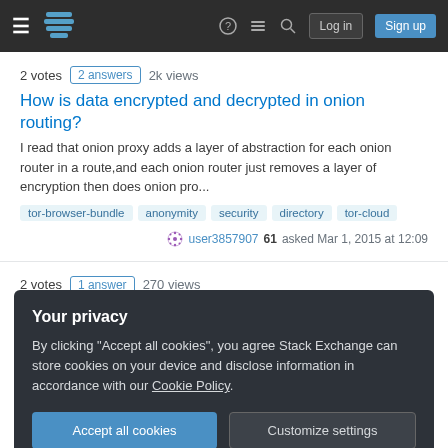Stack Exchange navigation bar with Log in and Sign up buttons
2 votes  2 answers  2k views
How is data encrypted and decrypted in onion routing?
I read that onion proxy adds a layer of abstraction for each onion router in a route,and each onion router just removes a layer of encryption then does onion pro...
tor-browser-bundle
anonymity
security
directory
tor-cloud
user3857907 61 asked Mar 1, 2015 at 12:09
2 votes  1 answer  270 views
Interacting with Tor cloud via python/stem
I'm new to Tor. I'm interested in setting up a Tor cloud
Your privacy
By clicking "Accept all cookies", you agree Stack Exchange can store cookies on your device and disclose information in accordance with our Cookie Policy.
Accept all cookies
Customize settings
I'm using silvertunnel-ng package. I managed to get the example provided here